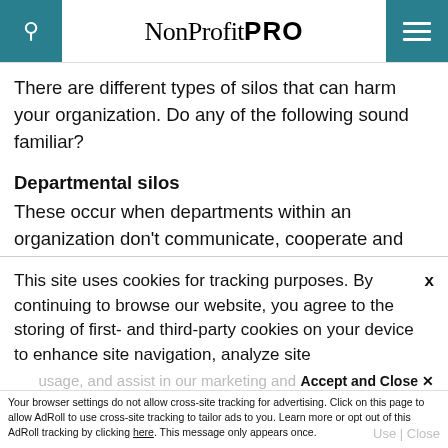NonProfit PRO
There are different types of silos that can harm your organization. Do any of the following sound familiar?
Departmental silos
These occur when departments within an organization don't communicate, cooperate and engage with each other for the benefit of the
This site uses cookies for tracking purposes. By continuing to browse our website, you agree to the storing of first- and third-party cookies on your device to enhance site navigation, analyze site usage, and assist in our marketing and
Accept and Close ✕
Your browser settings do not allow cross-site tracking for advertising. Click on this page to allow AdRoll to use cross-site tracking to tailor ads to you. Learn more or opt out of this AdRoll tracking by clicking here. This message only appears once.